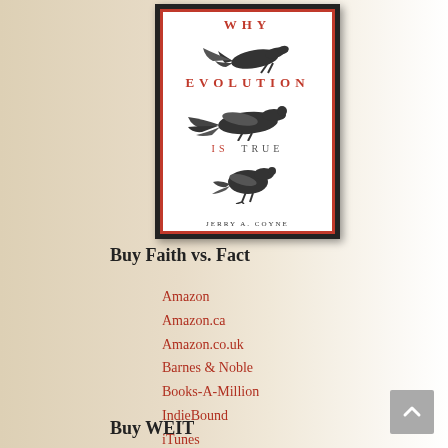[Figure (illustration): Book cover of 'Why Evolution Is True' by Jerry A. Coyne. White background with red border, red lettering for title, black and white bird illustrations (three birds in evolutionary sequence), author name at bottom.]
Buy Faith vs. Fact
Amazon
Amazon.ca
Amazon.co.uk
Barnes & Noble
Books-A-Million
IndieBound
iTunes
Powell's
Buy WEIT